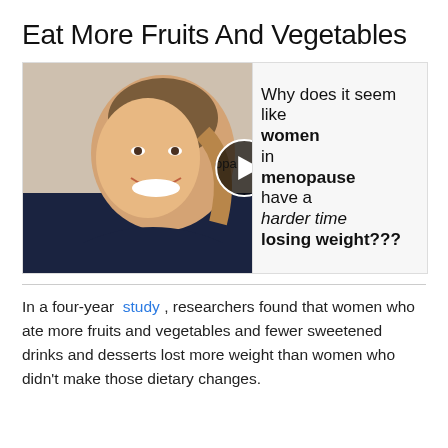Eat More Fruits And Vegetables
[Figure (screenshot): Video thumbnail showing a smiling woman with text overlay: 'Why does it seem like women in menopause have a harder time losing weight???' and a play button in the center.]
In a four-year study , researchers found that women who ate more fruits and vegetables and fewer sweetened drinks and desserts lost more weight than women who didn't make those dietary changes.